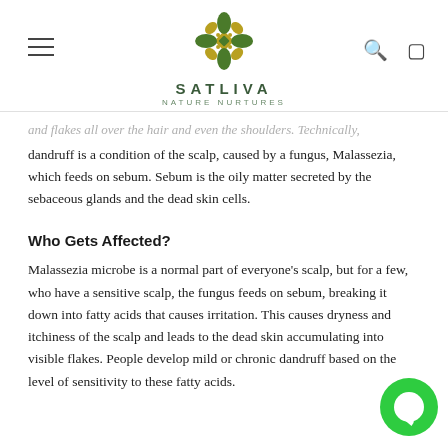SATLIVA NATURE NURTURES
...and flakes all over the hair and even the shoulders. Technically, dandruff is a condition of the scalp, caused by a fungus, Malassezia, which feeds on sebum. Sebum is the oily matter secreted by the sebaceous glands and the dead skin cells.
Who Gets Affected?
Malassezia microbe is a normal part of everyone's scalp, but for a few, who have a sensitive scalp, the fungus feeds on sebum, breaking it down into fatty acids that causes irritation. This causes dryness and itchiness of the scalp and leads to the dead skin accumulating into visible flakes. People develop mild or chronic dandruff based on the level of sensitivity to these fatty acids.